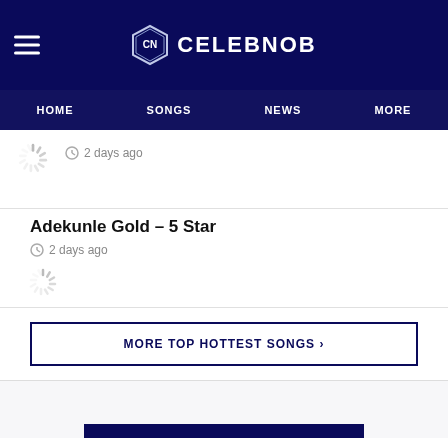CELEBNOB
HOME   SONGS   NEWS   MORE
2 days ago
Adekunle Gold – 5 Star
2 days ago
MORE TOP HOTTEST SONGS ›